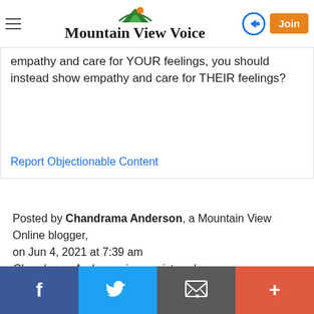Mountain View Voice
empathy and care for YOUR feelings, you should instead show empathy and care for THEIR feelings?
Report Objectionable Content
Posted by Chandrama Anderson, a Mountain View Online blogger, on Jun 4, 2021 at 7:39 am
Chandrama Anderson is a registered user.
Hi DKHSK, You ask an important question. There are
Facebook | Twitter | Email | More